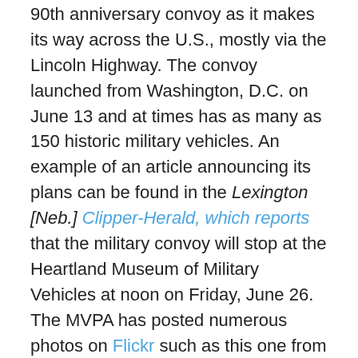90th anniversary convoy as it makes its way across the U.S., mostly via the Lincoln Highway. The convoy launched from Washington, D.C. on June 13 and at times has as many as 150 historic military vehicles. An example of an article announcing its plans can be found in the Lexington [Neb.] Clipper-Herald, which reports that the military convoy will stop at the Heartland Museum of Military Vehicles at noon on Friday, June 26. The MVPA has posted numerous photos on Flickr such as this one from near Jefferson, Iowa:
[Figure (photo): Broken image placeholder labeled IA_convoyFlickr1]
A parade through South Bend was part of the LHA conference last Friday. Here are some photos after the group left the overnight stop at a fairgrounds; some of the vehicles were awaiting repair such as the first one below.